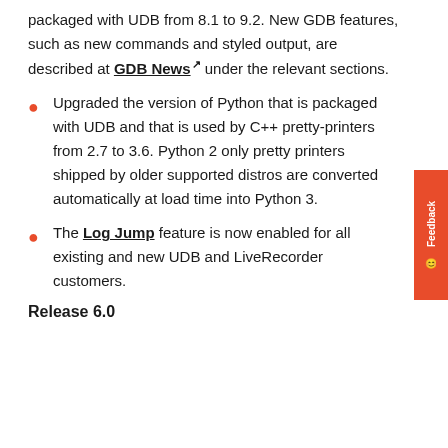packaged with UDB from 8.1 to 9.2. New GDB features, such as new commands and styled output, are described at GDB News under the relevant sections.
Upgraded the version of Python that is packaged with UDB and that is used by C++ pretty-printers from 2.7 to 3.6. Python 2 only pretty printers shipped by older supported distros are converted automatically at load time into Python 3.
The Log Jump feature is now enabled for all existing and new UDB and LiveRecorder customers.
Release 6.0